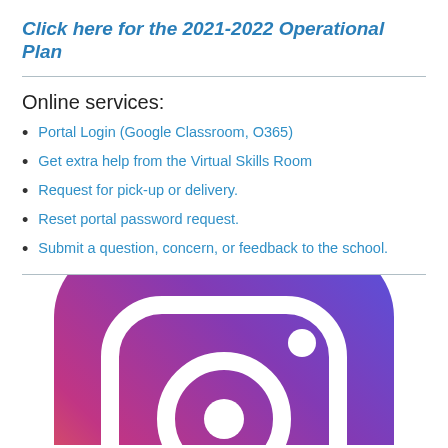Click here for the 2021-2022 Operational Plan
Online services:
Portal Login (Google Classroom, O365)
Get extra help from the Virtual Skills Room
Request for pick-up or delivery.
Reset portal password request.
Submit a question, concern, or feedback to the school.
[Figure (logo): Instagram logo icon with gradient background (purple to pink/magenta), partially cropped at bottom of page.]